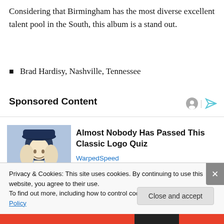Considering that Birmingham has the most diverse excellent talent pool in the South, this album is a stand out.
Brad Hardisy, Nashville, Tennessee
Sponsored Content
[Figure (infographic): Sponsored ad: illustration of a colonial-era figure (Quaker Oats style man) with text 'Almost Nobody Has Passed This Classic Logo Quiz' and source 'WarpedSpeed']
Privacy & Cookies: This site uses cookies. By continuing to use this website, you agree to their use.
To find out more, including how to control cookies, see here: Cookie Policy
Close and accept